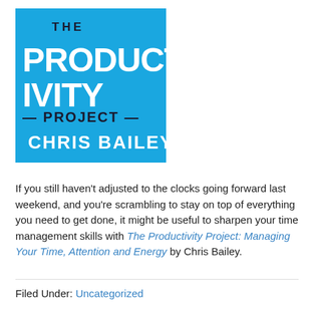[Figure (illustration): Book cover for 'The Productivity Project' by Chris Bailey. Bright blue background with stylized white text for 'THE PRODUCTIVITY PROJECT' and 'CHRIS BAILEY' in white lettering.]
If you still haven't adjusted to the clocks going forward last weekend, and you're scrambling to stay on top of everything you need to get done, it might be useful to sharpen your time management skills with The Productivity Project: Managing Your Time, Attention and Energy by Chris Bailey.
Filed Under: Uncategorized